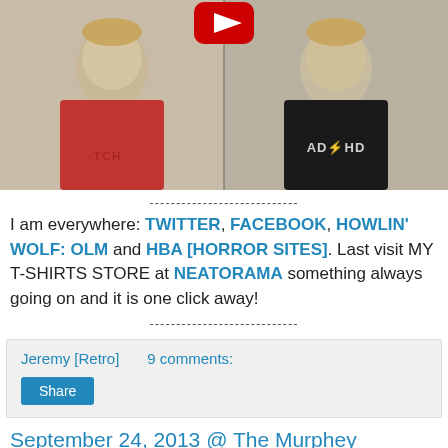[Figure (photo): Screenshot of a video thumbnail showing two young men side by side — left man in a red t-shirt, right man in a black ADHD t-shirt — with a YouTube play button icon at top center]
----------------------------
I am everywhere: TWITTER, FACEBOOK, HOWLIN' WOLF: OLM and HBA [HORROR SITES]. Last visit MY T-SHIRTS STORE at NEATORAMA something always going on and it is one click away!
----------------------------
Jeremy [Retro]    9 comments:
Share
September 24, 2013 @ The Murphey